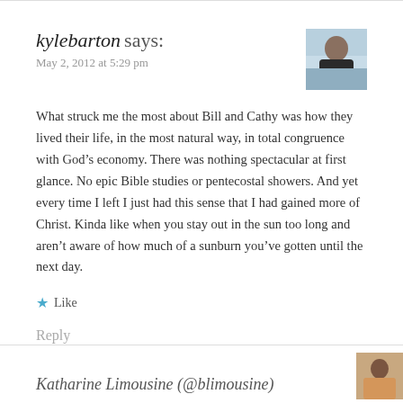kylebarton says:
May 2, 2012 at 5:29 pm
What struck me the most about Bill and Cathy was how they lived their life, in the most natural way, in total congruence with God’s economy. There was nothing spectacular at first glance. No epic Bible studies or pentecostal showers. And yet every time I left I just had this sense that I had gained more of Christ. Kinda like when you stay out in the sun too long and aren’t aware of how much of a sunburn you’ve gotten until the next day.
★ Like
Reply
Katharine Limousine (@blimousine)